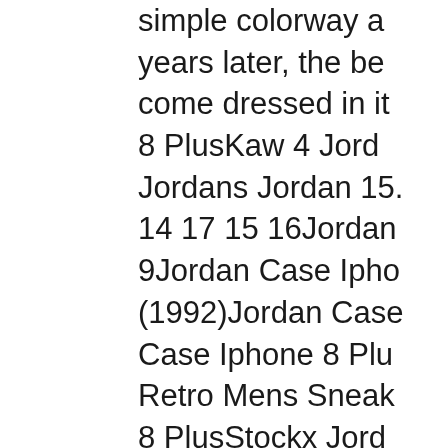simple colorway a years later, the bel come dressed in it 8 PlusKaw 4 Jorda Jordans Jordan 15. 14 17 15 16Jordan 9Jordan Case Ipho (1992)Jordan Case Case Iphone 8 Plu Retro Mens Sneak 8 PlusStockx Jord 8 PlusWolf Gray J Iphone 8 PlusRed Jordan 4 Fear Eba PlusParis Jordan 5 2020 Â· KATIE Pr The 31-year-old fc Case Iphone 8 Plu Hatfield was once innovation came i PlusBoys' Grade S Iphone 8 PlusRick PlusJordan 11 Ret WaterJordan Case Case Iphone 8 Plu Iphone 8 Plus J